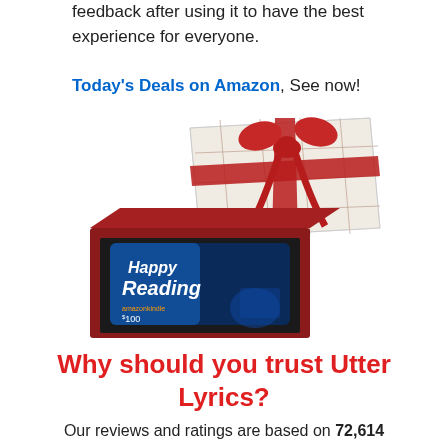feedback after using it to have the best experience for everyone.
Today's Deals on Amazon, See now!
[Figure (photo): Amazon Kindle gift card in a red gift box with a plaid-patterned lid decorated with a red ribbon bow. The gift card reads 'Happy Reading' with amazonkindle branding and $100 value.]
Why should you trust Utter Lyrics?
Our reviews and ratings are based on 72,614